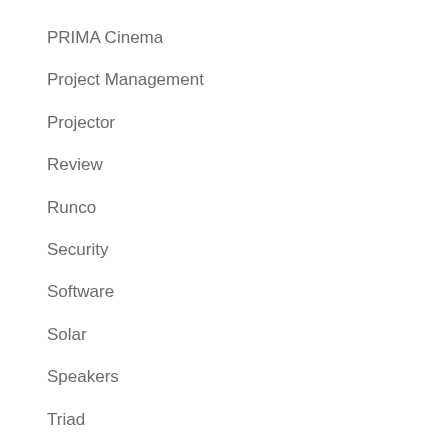PRIMA Cinema
Project Management
Projector
Review
Runco
Security
Software
Solar
Speakers
Triad
TV